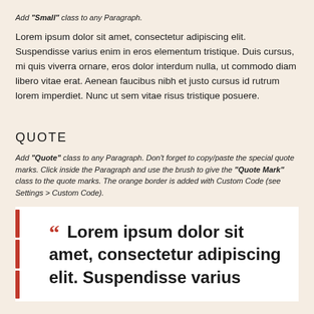Add "Small" class to any Paragraph.
Lorem ipsum dolor sit amet, consectetur adipiscing elit. Suspendisse varius enim in eros elementum tristique. Duis cursus, mi quis viverra ornare, eros dolor interdum nulla, ut commodo diam libero vitae erat. Aenean faucibus nibh et justo cursus id rutrum lorem imperdiet. Nunc ut sem vitae risus tristique posuere.
QUOTE
Add "Quote" class to any Paragraph. Don't forget to copy/paste the special quote marks. Click inside the Paragraph and use the brush to give the "Quote Mark" class to the quote marks. The orange border is added with Custom Code (see Settings > Custom Code).
“ Lorem ipsum dolor sit amet, consectetur adipiscing elit. Suspendisse varius